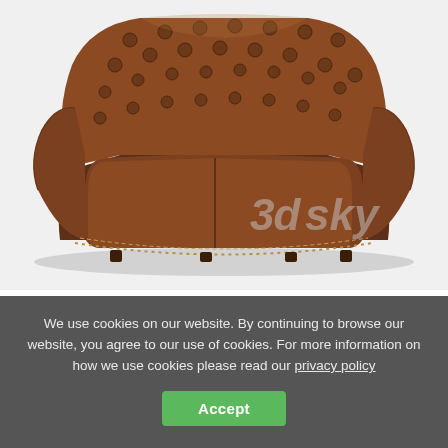[Figure (photo): 3D render of a brown tufted leather Chesterfield sofa (Rodeo Divan) on a white/light grey background, with a '3dsky' watermark in the lower right corner]
3DSKY
Rodeo Divan ▲
We use cookies on our website. By continuing to browse our website, you agree to our use of cookies. For more information on how we use cookies please read our privacy policy
Accept